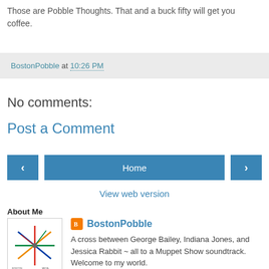Those are Pobble Thoughts. That and a buck fifty will get you coffee.
BostonPobble at 10:26 PM
No comments:
Post a Comment
[Figure (other): Navigation buttons: back arrow, Home button, forward arrow]
View web version
About Me
[Figure (map): Boston MBTA subway map thumbnail]
BostonPobble
A cross between George Bailey, Indiana Jones, and Jessica Rabbit ~ all to a Muppet Show soundtrack. Welcome to my world.